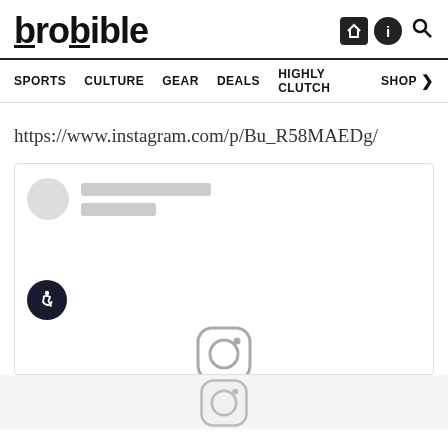brobible
SPORTS  CULTURE  GEAR  DEALS  HIGHLY CLUTCH  SHOP >
https://www.instagram.com/p/Bu_R58MAEDg/
[Figure (screenshot): Embedded Instagram post placeholder with a gray circle avatar and two gray placeholder lines, an accessibility icon (wheelchair symbol in dark circle), and an Instagram camera icon at the bottom center.]